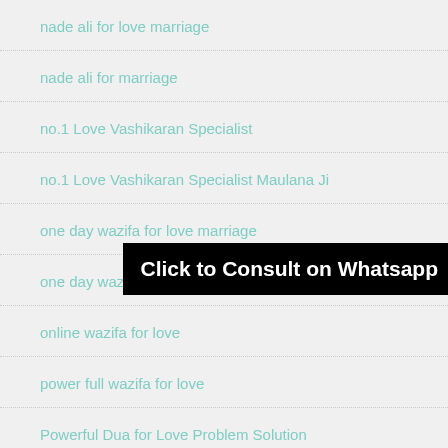nade ali for love marriage
nade ali for marriage
no.1 Love Vashikaran Specialist
no.1 Love Vashikaran Specialist Maulana Ji
one day wazifa for love marriage
one day wazifa for marriage
online wazifa for love
power full wazifa for love
Powerful Dua for Love Problem Solution
powerful dua to get job in 3 days
Click to Consult on Whatsapp